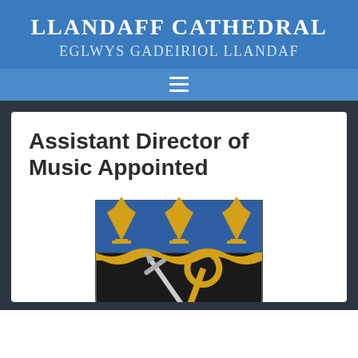LLANDAFF CATHEDRAL
EGLWYS GADEIRIOL LLANDAF
Assistant Director of Music Appointed
[Figure (illustration): Coat of arms / heraldic shield of Llandaff Cathedral: upper portion blue with three gold mitre-shaped ornaments, lower portion black with a crossed sword and gold key]